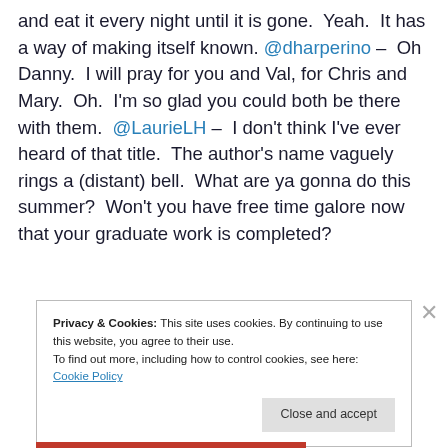and eat it every night until it is gone.  Yeah.  It has a way of making itself known. @dharperino –  Oh Danny.  I will pray for you and Val, for Chris and Mary.  Oh.  I'm so glad you could both be there with them.  @LaurieLH –  I don't think I've ever heard of that title.  The author's name vaguely rings a (distant) bell.  What are ya gonna do this summer?  Won't you have free time galore now that your graduate work is completed?
Privacy & Cookies: This site uses cookies. By continuing to use this website, you agree to their use.
To find out more, including how to control cookies, see here: Cookie Policy